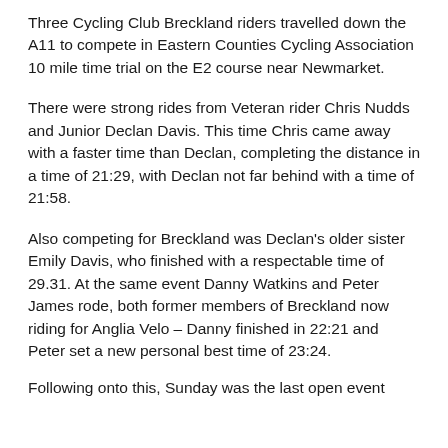Three Cycling Club Breckland riders travelled down the A11 to compete in Eastern Counties Cycling Association 10 mile time trial on the E2 course near Newmarket.
There were strong rides from Veteran rider Chris Nudds and Junior Declan Davis. This time Chris came away with a faster time than Declan, completing the distance in a time of 21:29, with Declan not far behind with a time of 21:58.
Also competing for Breckland was Declan's older sister Emily Davis, who finished with a respectable time of 29.31. At the same event Danny Watkins and Peter James rode, both former members of Breckland now riding for Anglia Velo – Danny finished in 22:21 and Peter set a new personal best time of 23:24.
Following onto this, Sunday was the last open event